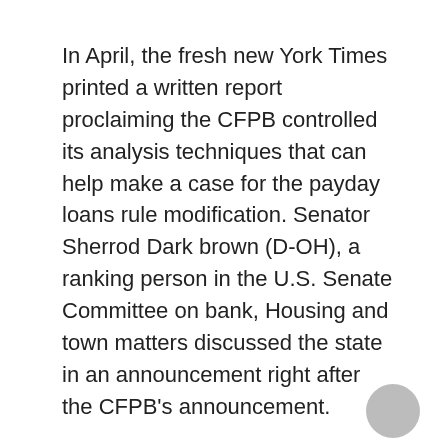In April, the fresh new York Times printed a written report proclaiming the CFPB controlled its analysis techniques that can help make a case for the payday loans rule modification. Senator Sherrod Dark brown (D-OH), a ranking person in the U.S. Senate Committee on bank, Housing and town matters discussed the state in an announcement right after the CFPB’s announcement.
“Today, the CFPB provided payday financial institutions what exactly these people covered by gutting a law which would need protected North american households from predatory loans that trap them in periods of personal debt,” Brown said. “This newer rule—and previous